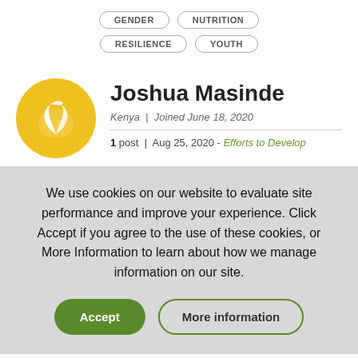GENDER
NUTRITION
RESILIENCE
YOUTH
[Figure (illustration): Yellow circular avatar with white leaf logo]
Joshua Masinde
Kenya | Joined June 18, 2020
1 post | Aug 25, 2020 - Efforts to Develop
We use cookies on our website to evaluate site performance and improve your experience. Click Accept if you agree to the use of these cookies, or More Information to learn about how we manage information on our site.